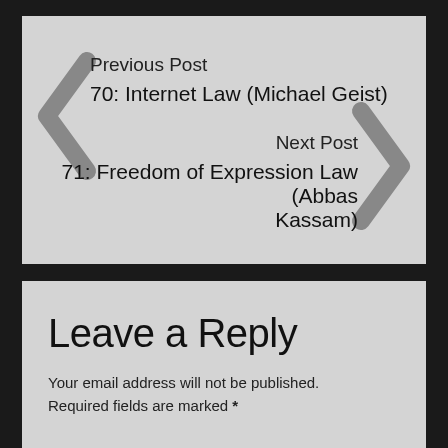Previous Post
70: Internet Law (Michael Geist)
Next Post
71: Freedom of Expression Law (Abbas Kassam)
Leave a Reply
Your email address will not be published. Required fields are marked *